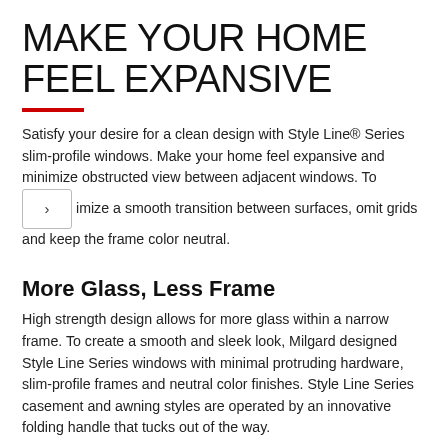MAKE YOUR HOME FEEL EXPANSIVE
Satisfy your desire for a clean design with Style Line® Series slim-profile windows. Make your home feel expansive and minimize obstructed view between adjacent windows. To maximize a smooth transition between surfaces, omit grids and keep the frame color neutral.
More Glass, Less Frame
High strength design allows for more glass within a narrow frame. To create a smooth and sleek look, Milgard designed Style Line Series windows with minimal protruding hardware, slim-profile frames and neutral color finishes. Style Line Series casement and awning styles are operated by an innovative folding handle that tucks out of the way.